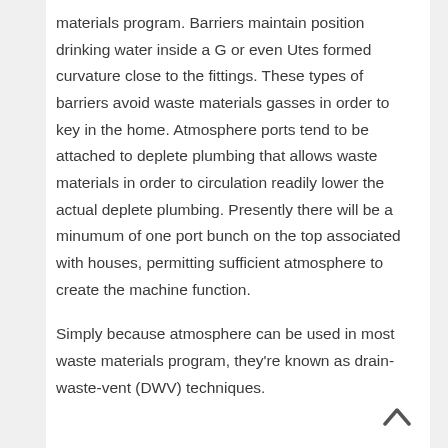materials program. Barriers maintain position drinking water inside a G or even Utes formed curvature close to the fittings. These types of barriers avoid waste materials gasses in order to key in the home. Atmosphere ports tend to be attached to deplete plumbing that allows waste materials in order to circulation readily lower the actual deplete plumbing. Presently there will be a minumum of one port bunch on the top associated with houses, permitting sufficient atmosphere to create the machine function.
Simply because atmosphere can be used in most waste materials program, they're known as drain-waste-vent (DWV) techniques.